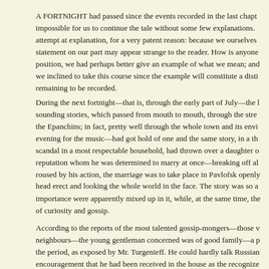A FORTNIGHT had passed since the events recorded in the last chapt impossible for us to continue the tale without some few explanations. attempt at explanation, for a very patent reason: because we ourselves statement on our part may appear strange to the reader. How is anyone position, we had perhaps better give an example of what we mean; and we inclined to take this course since the example will constitute a disti remaining to be recorded.
During the next fortnight—that is, through the early part of July—the sounding stories, which passed from mouth to mouth, through the stre the Epanchins; in fact, pretty well through the whole town and its envi evening for the music—had got hold of one and the same story, in a th scandal in a most respectable household, had thrown over a daughter o reputation whom he was determined to marry at once—breaking off al roused by his action, the marriage was to take place in Pavlofsk openly head erect and looking the whole world in the face. The story was so a importance were apparently mixed up in it, while, at the same time, the of curiosity and gossip.
According to the reports of the most talented gossip-mongers—those v neighbours—the young gentleman concerned was of good family—a p the period, as exposed by Mr. Turgenieff. He could hardly talk Russian encouragement that he had been received in the house as the recognize told that he studied for holy orders, took all the oaths, was ordained i